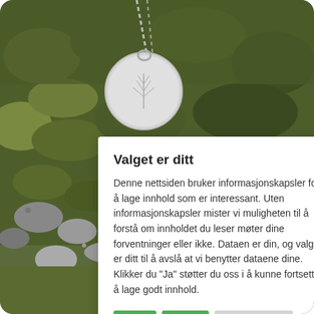[Figure (photo): Background photograph of a silver round pendant necklace with engraved plant motif, resting on mossy rocks and pebbles, with a silver chain visible at the top.]
Valget er ditt
Denne nettsiden bruker informasjonskapsler for å lage innhold som er interessant. Uten informasjonskapsler mister vi muligheten til å forstå om innholdet du leser møter dine forventninger eller ikke. Dataen er din, og valger er ditt til å avslå at vi benytter dataene dine. Klikker du "Ja" støtter du oss i å kunne fortsette å lage godt innhold.
Ja
Nei
Innstillinger